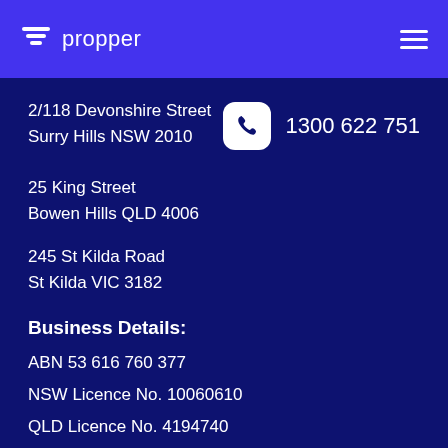propper
2/118 Devonshire Street
Surry Hills NSW 2010
1300 622 751
25 King Street
Bowen Hills QLD 4006
245 St Kilda Road
St Kilda VIC 3182
Business Details:
ABN 53 616 760 377
NSW Licence No. 10060610
QLD Licence No. 4194740